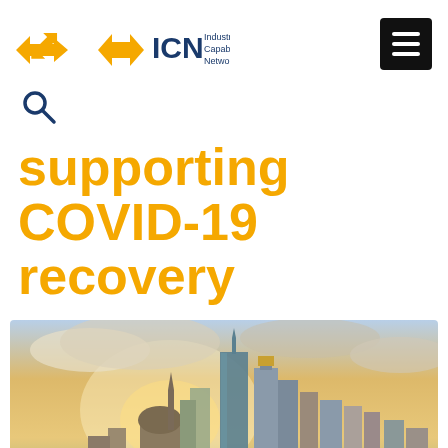ICN Industry Capability Network
supporting COVID-19 recovery
[Figure (photo): Melbourne city skyline at dusk/sunset with tall modern skyscrapers and historic buildings, warm golden sky with clouds]